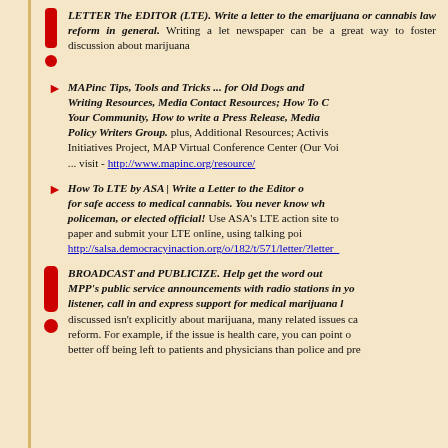LETTER The EDITOR (LTE). Write a letter to the editor about marijuana or cannabis law reform in general. Writing a letter to your newspaper can be a great way to foster discussion about marijuana
MAPinc Tips, Tools and Tricks ... for Old Dogs and Writing Resources, Media Contact Resources; How To Get Into Your Community, How to write a Press Release, Media Policy Writers Group. plus, Additional Resources; Activists Initiatives Project, MAP Virtual Conference Center (Our Voi... visit - http://www.mapinc.org/resource/
How To LTE by ASA | Write a Letter to the Editor of for safe access to medical cannabis. You never know wh policeman, or elected official! Use ASA's LTE action site to paper and submit your LTE online, using talking poi http://salsa.democracyinaction.org/o/182/t/571/letter/?letter_
BROADCAST and PUBLICIZE. Help get the word out MPP's public service announcements with radio stations in yo listener, call in and express support for medical marijuana l discussed isn't explicitly about marijuana, many related issues ca reform. For example, if the issue is health care, you can point o better off being left to patients and physicians than police and pre